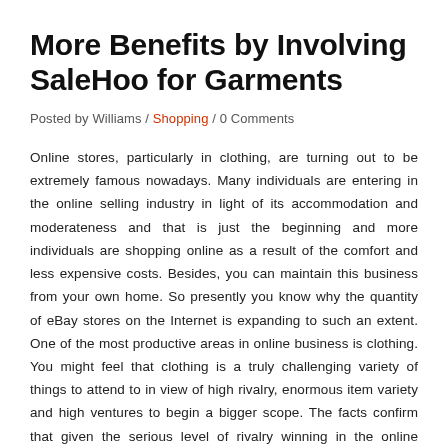More Benefits by Involving SaleHoo for Garments
Posted by Williams / Shopping / 0 Comments
Online stores, particularly in clothing, are turning out to be extremely famous nowadays. Many individuals are entering in the online selling industry in light of its accommodation and moderateness and that is just the beginning and more individuals are shopping online as a result of the comfort and less expensive costs. Besides, you can maintain this business from your own home. So presently you know why the quantity of eBay stores on the Internet is expanding to such an extent. One of the most productive areas in online business is clothing. You might feel that clothing is a truly challenging variety of things to attend to in view of high rivalry, enormous item variety and high ventures to begin a bigger scope. The facts confirm that given the serious level of rivalry winning in the online clothing business, it is basic to get the best costs for the items you acquire.